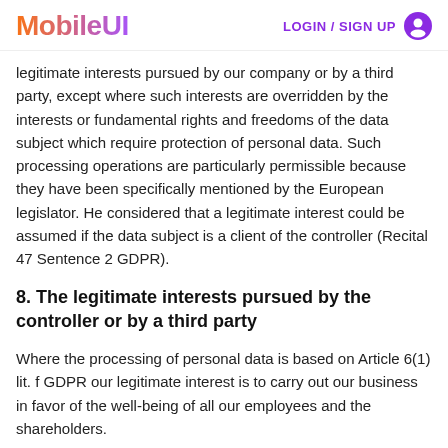MobileUI | LOGIN / SIGN UP
legitimate interests pursued by our company or by a third party, except where such interests are overridden by the interests or fundamental rights and freedoms of the data subject which require protection of personal data. Such processing operations are particularly permissible because they have been specifically mentioned by the European legislator. He considered that a legitimate interest could be assumed if the data subject is a client of the controller (Recital 47 Sentence 2 GDPR).
8. The legitimate interests pursued by the controller or by a third party
Where the processing of personal data is based on Article 6(1) lit. f GDPR our legitimate interest is to carry out our business in favor of the well-being of all our employees and the shareholders.